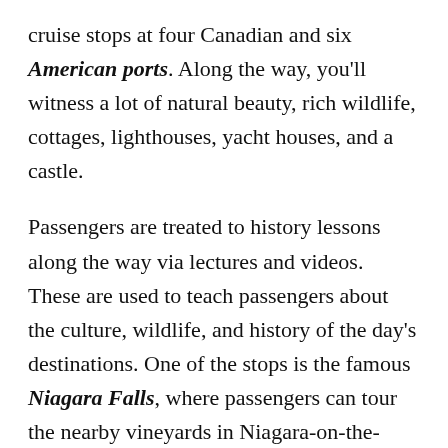cruise stops at four Canadian and six American ports. Along the way, you'll witness a lot of natural beauty, rich wildlife, cottages, lighthouses, yacht houses, and a castle.
Passengers are treated to history lessons along the way via lectures and videos. These are used to teach passengers about the culture, wildlife, and history of the day's destinations. One of the stops is the famous Niagara Falls, where passengers can tour the nearby vineyards in Niagara-on-the-Lake. There's also a bus tour of historic Kingston, Ontario where you can visit Fort Henry and take a hauntedwalking tour of the city.